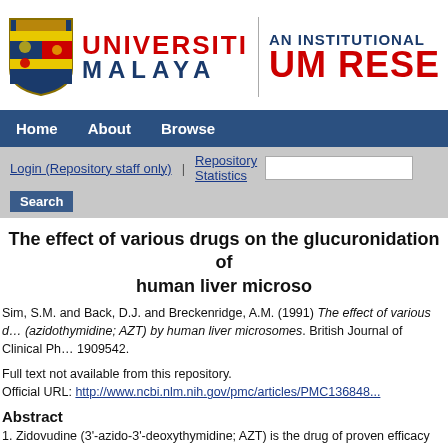[Figure (logo): Universiti Malaya shield logo with UNIVERSITI MALAYA text and UM RESEARCH institutional repository branding]
Home  About  Browse
Login (Repository staff only) | Repository Statistics  [Search box] Search
The effect of various drugs on the glucuronidation of human liver microsomes
Sim, S.M. and Back, D.J. and Breckenridge, A.M. (1991) The effect of various drugs on the glucuronidation of zidovudine (azidothymidine; AZT) by human liver microsomes. British Journal of Clinical Pharmacology, pp. 1909542.
Full text not available from this repository.
Official URL: http://www.ncbi.nlm.nih.gov/pmc/articles/PMC136848...
Abstract
1. Zidovudine (3'-azido-3'-deoxythymidine; AZT) is the drug of proven efficacy and is eliminated mainly by hepatic glucuronidation. Therefore, interference with